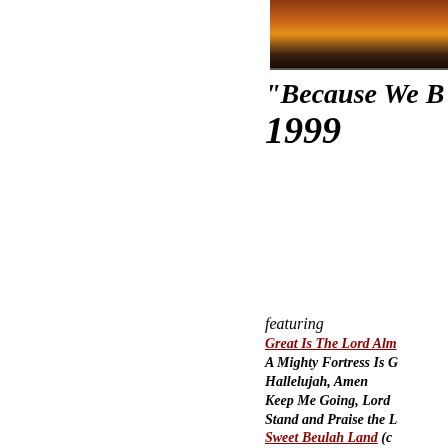[Figure (photo): Sunset/landscape photo cropped at top right, showing orange and brown tones]
"Because We B... 1999
featuring
Great Is The Lord Alm...
A Mighty Fortress Is G...
Hallelujah, Amen
Keep Me Going, Lord...
Stand and Praise the L...
Sweet Beulah Land (click to...)
Midnight Cry (click to...)
[Figure (photo): Small book or album cover with tan/brown background, text partially visible reading 'The Singing Men of West Texas... Live']